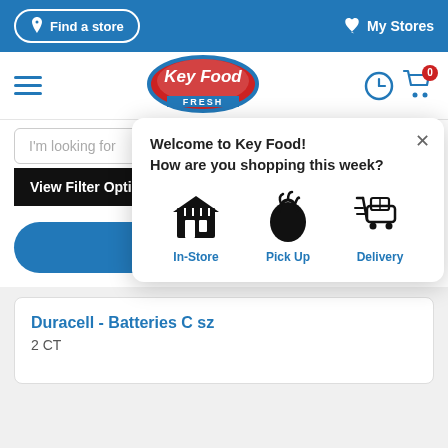Find a store | My Stores
[Figure (logo): Key Food Fresh logo - red oval with white text]
I'm looking for
Welcome to Key Food!
How are you shopping this week?
In-Store | Pick Up | Delivery
View Filter Options +
View Price
Duracell - Batteries C sz
2 CT